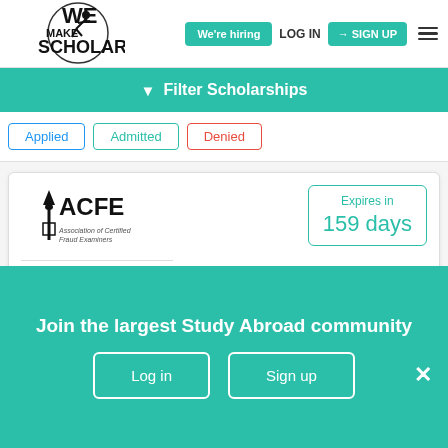[Figure (logo): We Make Scholars logo with silhouette figure]
We're hiring | LOG IN | SIGN UP
Filter Scholarships
Applied
Admitted
Denied
[Figure (logo): ACFE - Association of Certified Fraud Examiners logo]
Expires in 159 days
Ritchie-Jennings Memorial Scholarship Program, 2023
Bachelors, Masters
Join the largest Study Abroad community
Log in
Sign up